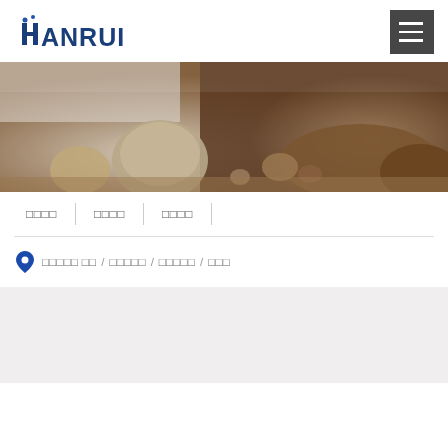[Figure (logo): Hanrui Cobalt company logo with blue text and dots icon, with 'COBALT' below in gray spaced letters]
[Figure (photo): Close-up photo of cobalt ore/mineral pellets and powder, brown/tan colors]
□□□□ | □□□□ | □□□□ |
□□□□□ □□ / □□□□□ / □□□□□ / □□□